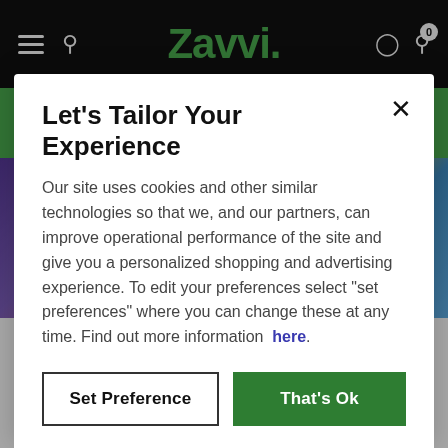Zavvi
[Figure (screenshot): Two QUICK BUY green buttons side by side]
[Figure (photo): Two Blu-ray 3D product images partially visible]
Let's Tailor Your Experience
Our site uses cookies and other similar technologies so that we, and our partners, can improve operational performance of the site and give you a personalized shopping and advertising experience. To edit your preferences select "set preferences" where you can change these at any time. Find out more information here.
Set Preference | That's Ok